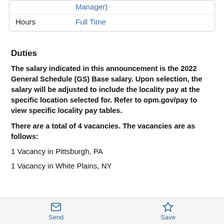| Field | Value |
| --- | --- |
| Hours | Full Time |
Duties
The salary indicated in this announcement is the 2022 General Schedule (GS) Base salary. Upon selection, the salary will be adjusted to include the locality pay at the specific location selected for. Refer to opm.gov/pay to view specific locality pay tables.
There are a total of 4 vacancies. The vacancies are as follows:
1 Vacancy in Pittsburgh, PA
1 Vacancy in White Plains, NY
Send | Save